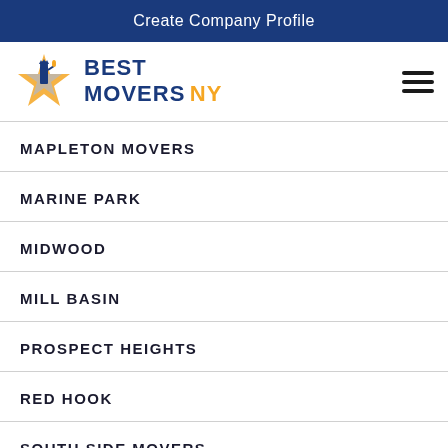Create Company Profile
[Figure (logo): Best Movers NY logo with Statue of Liberty and star graphic]
MAPLETON MOVERS
MARINE PARK
MIDWOOD
MILL BASIN
PROSPECT HEIGHTS
RED HOOK
SOUTH SIDE MOVERS